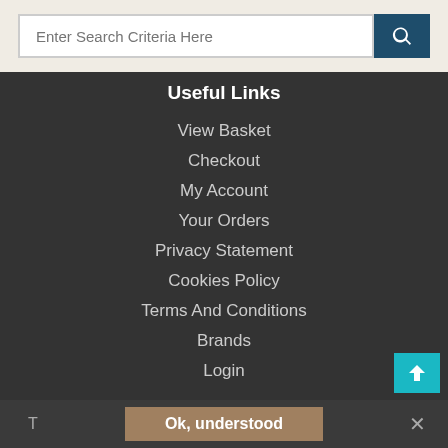Enter Search Criteria Here
Useful Links
View Basket
Checkout
My Account
Your Orders
Privacy Statement
Cookies Policy
Terms And Conditions
Brands
Login
Search Tools
Advanced Search
A to Z
Ok, understood